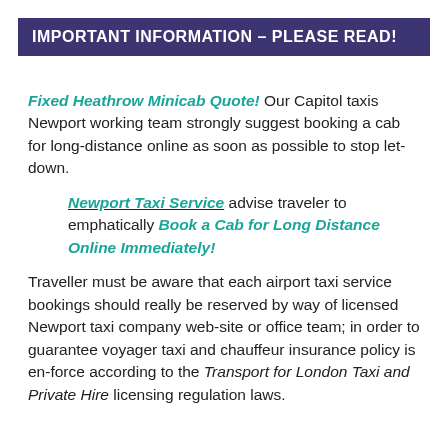IMPORTANT INFORMATION – PLEASE READ!
Fixed Heathrow Minicab Quote! Our Capitol taxis Newport working team strongly suggest booking a cab for long-distance online as soon as possible to stop let-down.
Newport Taxi Service advise traveler to emphatically Book a Cab for Long Distance Online Immediately!
Traveller must be aware that each airport taxi service bookings should really be reserved by way of licensed Newport taxi company web-site or office team; in order to guarantee voyager taxi and chauffeur insurance policy is en-force according to the Transport for London Taxi and Private Hire licensing regulation laws.